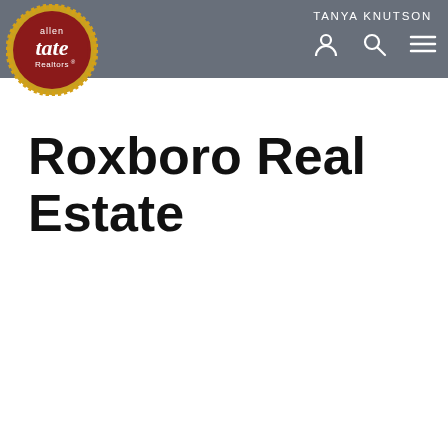[Figure (logo): Allen Tate Realtors circular logo with red background, gold sunburst border, and white text 'allen tate Realtors']
TANYA KNUTSON
Roxboro Real Estate